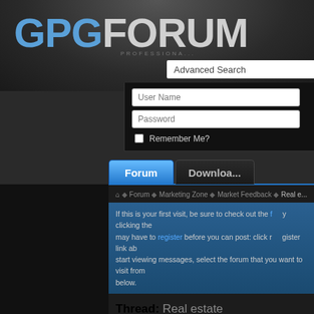[Figure (screenshot): GPG Forum website screenshot showing the forum header with logo, Advanced Search bar, login form with User Name and Password fields and Remember Me checkbox, navigation tabs (Forum, Downloads), breadcrumb navigation, first visit message, Thread title 'Real estate', thread tools bar, and post date 04-02-2022, 12:30 PM]
GPG FORUM PROFESSIONAL
Advanced Search
User Name
Password
Remember Me?
Forum | Downloads
Forum ◆ Marketing Zone ◆ Market Feedback ◆ Real e...
If this is your first visit, be sure to check out the f     y clicking the may have to register before you can post: click r     gister link ab start viewing messages, select the forum that you want to visit from below.
Thread: Real estate
Thread Tools   Search Thread   Display
04-02-2022, 12:30 PM